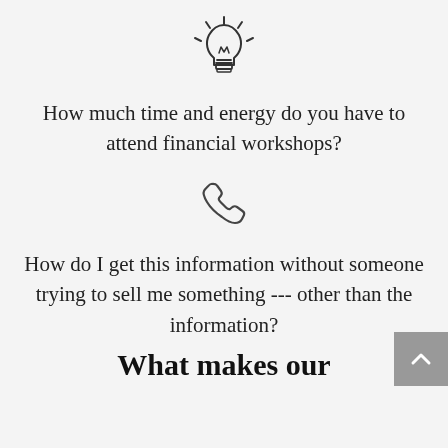[Figure (illustration): Lightbulb icon with rays, outline style]
How much time and energy do you have to attend financial workshops?
[Figure (illustration): Telephone handset icon, outline style]
How do I get this information without someone trying to sell me something --- other than the information?
What makes our